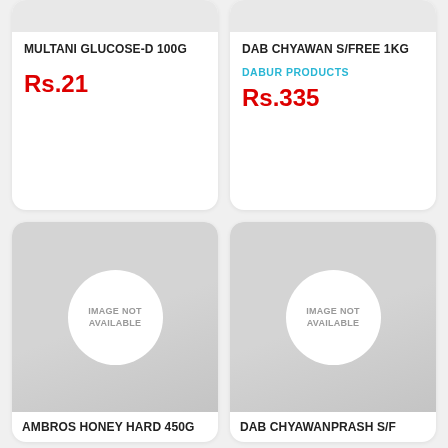MULTANI GLUCOSE-D 100G
Rs.21
DAB CHYAWAN S/FREE 1KG
DABUR PRODUCTS
Rs.335
[Figure (illustration): Product image placeholder with text IMAGE NOT AVAILABLE for AMBROS HONEY HARD 450G]
AMBROS HONEY HARD 450G
[Figure (illustration): Product image placeholder with text IMAGE NOT AVAILABLE for DAB CHYAWANPRASH S/F]
DAB CHYAWANPRASH S/F